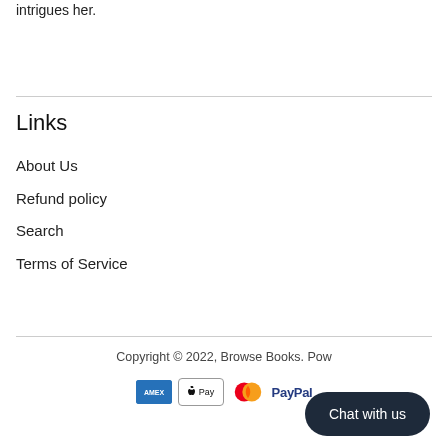intrigues her.
Links
About Us
Refund policy
Search
Terms of Service
Copyright © 2022, Browse Books. Pow...
[Figure (other): Payment icons: American Express, Apple Pay, Mastercard, PayPal]
Chat with us